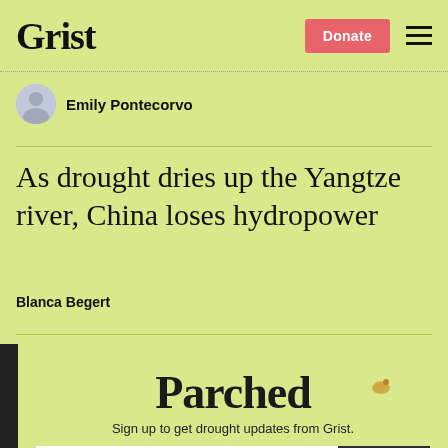Grist | Donate
Emily Pontecorvo
As drought dries up the Yangtze river, China loses hydropower
Blanca Begert
[Figure (other): Parched newsletter signup modal with email input and SIGN UP button. Text: Sign up to get drought updates from Grist. No thanks link at bottom.]